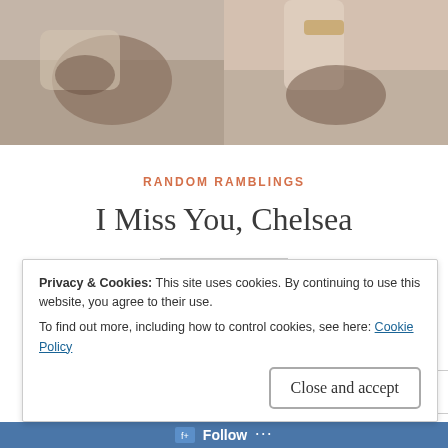[Figure (photo): Two photos side by side at the top: left shows a dog with person's hand, right shows a dog being given a treat]
RANDOM RAMBLINGS
I Miss You, Chelsea
Dec 2, 2017 · Leave a comment
It's been a year today. And I still miss you. I still cry when I look at your old photos. I still call out your
Privacy & Cookies: This site uses cookies. By continuing to use this website, you agree to their use.
To find out more, including how to control cookies, see here: Cookie Policy
Close and accept
Follow